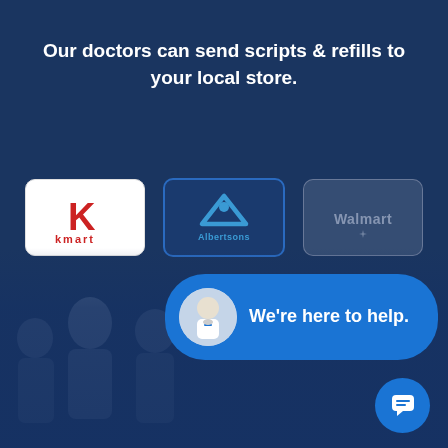Our doctors can send scripts & refills to your local store.
[Figure (logo): Kmart pharmacy logo - red K on white background]
[Figure (logo): Albertsons pharmacy logo - blue triangle/mountain icon on dark blue background]
[Figure (logo): Walmart pharmacy logo - faded/muted on translucent background]
[Figure (photo): Background photo of doctors/medical team, semi-transparent overlay on dark blue]
We're here to help.